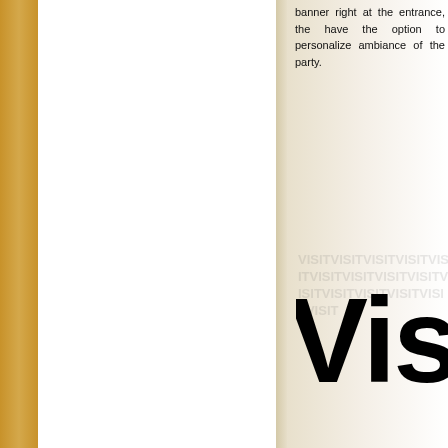banner right at the entrance, the have the option to personalize ambiance of the party.
[Figure (other): Large bold text reading 'Visit' partially cropped, overlaid on a cream/white page background with faint watermark-style text behind it. This appears to be a book spread showing part of a word on the right page.]